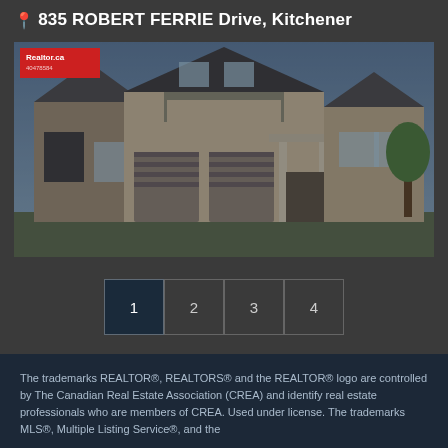835 ROBERT FERRIE Drive, Kitchener
[Figure (photo): Exterior photo of a two-storey residential home with brick facade, two-car garage, covered porch, and balcony. Realtor.ca branding badge in top-left corner.]
1  2  3  4
The trademarks REALTOR®, REALTORS® and the REALTOR® logo are controlled by The Canadian Real Estate Association (CREA) and identify real estate professionals who are members of CREA. Used under license. The trademarks MLS®, Multiple Listing Service®, and the